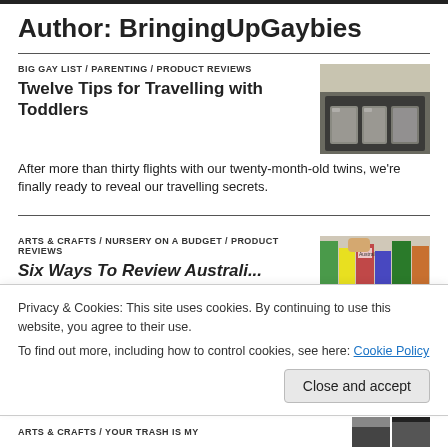Author: BringingUpGaybies
BIG GAY LIST / PARENTING / PRODUCT REVIEWS
Twelve Tips for Travelling with Toddlers
[Figure (photo): Open car boot/trunk filled with packed grey luggage bags]
After more than thirty flights with our twenty-month-old twins, we're finally ready to reveal our travelling secrets.
ARTS & CRAFTS / NURSERY ON A BUDGET / PRODUCT REVIEWS
Six Ways To Review Australian...
[Figure (photo): Stack of colorful children's books with Australia book visible]
Privacy & Cookies: This site uses cookies. By continuing to use this website, you agree to their use. To find out more, including how to control cookies, see here: Cookie Policy
Close and accept
ARTS & CRAFTS / YOUR TRASH IS MY